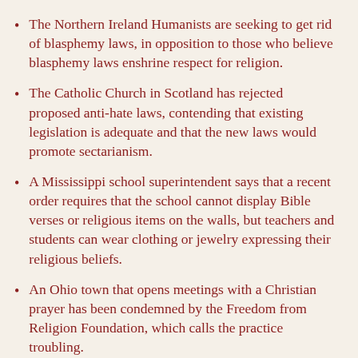The Northern Ireland Humanists are seeking to get rid of blasphemy laws, in opposition to those who believe blasphemy laws enshrine respect for religion.
The Catholic Church in Scotland has rejected proposed anti-hate laws, contending that existing legislation is adequate and that the new laws would promote sectarianism.
A Mississippi school superintendent says that a recent order requires that the school cannot display Bible verses or religious items on the walls, but teachers and students can wear clothing or jewelry expressing their religious beliefs.
An Ohio town that opens meetings with a Christian prayer has been condemned by the Freedom from Religion Foundation, which calls the practice troubling.